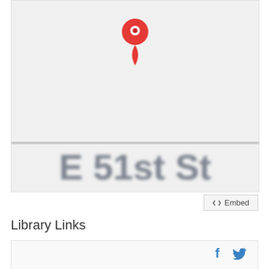[Figure (map): Google Maps view showing a red location pin marker above a blurred street label reading 'E 51st St'. The map background is light gray.]
<> Embed
Library Links
[Figure (infographic): Library Links box with Facebook and Twitter social media icons in blue, and a Contact Us link with an info icon below.]
Contact Us